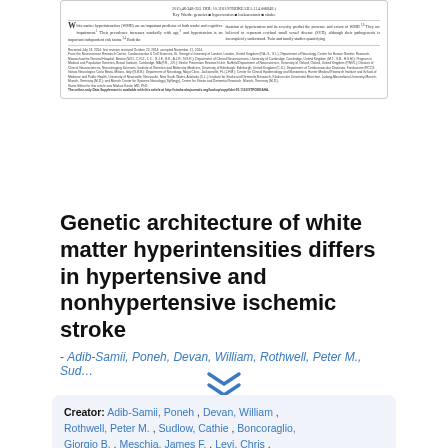[Figure (screenshot): Scanned/rendered academic journal article page preview showing DOI line, Key Words line, two-column article body text with drop cap W, a horizontal rule, and dense footnote/affiliation text.]
Genetic architecture of white matter hyperintensities differs in hypertensive and nonhypertensive ischemic stroke
- Adib-Samii, Poneh, Devan, William, Rothwell, Peter M., Sud…
Creator: Adib-Samii, Poneh , Devan, William , Rothwell, Peter M. , Sudlow, Cathie , Boncoraglio, Giorgio B. , Meschia, James F. , Levi, Chris , Dichgans, Martin , Bevan, Steve , Rosand, Jonathan , Rost, Natalia S., Markus, Hugh B.